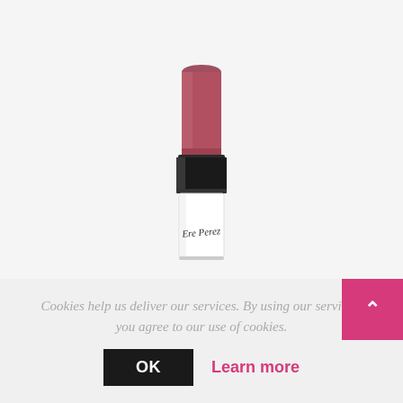[Figure (photo): Ere Perez lipstick product photo on white/light gray background. The lipstick has a mauve/dark rose colored bullet, a black metal collar, and a white cylindrical case with 'Ere Perez' written in cursive script.]
Cookies help us deliver our services. By using our services, you agree to our use of cookies.
OK
Learn more